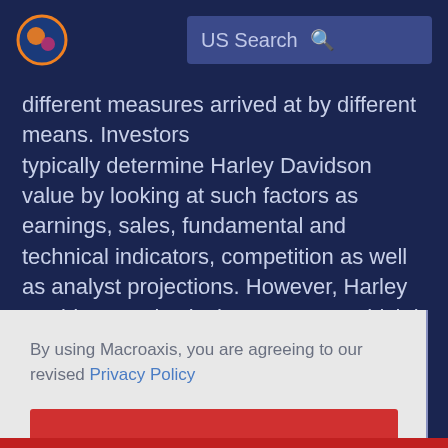US Search
different measures arrived at by different means. Investors typically determine Harley Davidson value by looking at such factors as earnings, sales, fundamental and technical indicators, competition as well as analyst projections. However, Harley Davidson's price is the amount at which it trades on the open market and represents the number that
By using Macroaxis, you are agreeing to our revised Privacy Policy
OK